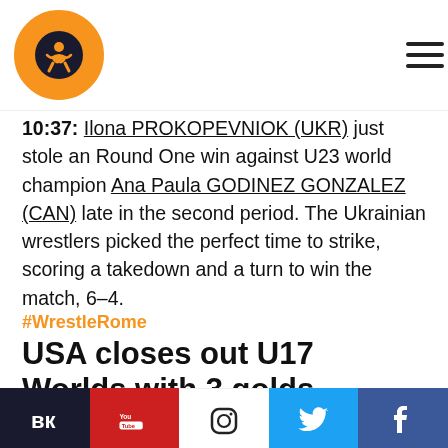UWW Wrestling website header with logo and hamburger menu
10:37: Ilona PROKOPEVNIOK (UKR) just stole an Round One win against U23 world champion Ana Paula GODINEZ GONZALEZ (CAN) late in the second period. The Ukrainian wrestlers picked the perfect time to strike, scoring a takedown and a turn to win the match, 6–4.
#WrestleRome
USA closes out U17 Worlds with 3 golds, historic FS title
Sunday, July 31, 2022 – 15:54 By Vinay Siwach
Social media icons: VK, YouTube, Instagram, Twitter, Facebook